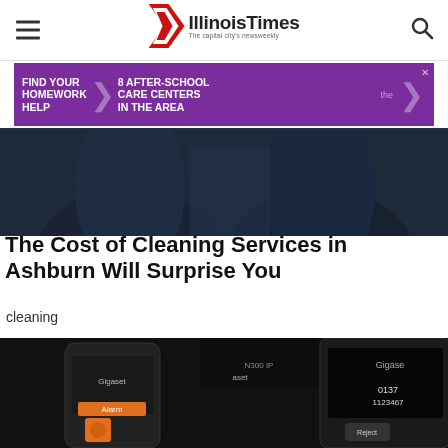Illinois Times — The capital city's newsweekly
[Figure (infographic): Purple advertisement banner: FIND YOUR HOMEWORK HELP > 8 AFTER-SCHOOL CARE CENTERS IN THE AREA — the Y]
[Figure (photo): Two people in dark navy polo shirts, sitting in a vehicle — cleaning service workers]
The Cost of Cleaning Services in Ashburn Will Surprise You
cleaning
[Figure (photo): Gigaset cordless phone advertisement — two Gigaset phones, one showing Alarm screen, another showing 0137 1123467, Reject button visible]